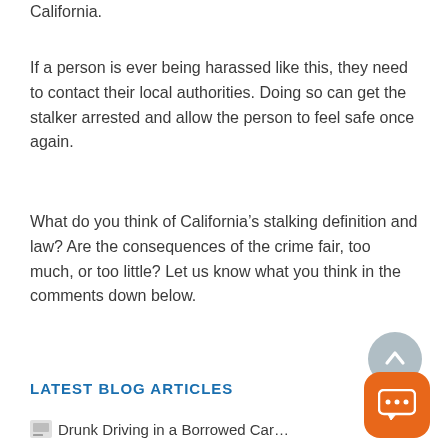California.
If a person is ever being harassed like this, they need to contact their local authorities. Doing so can get the stalker arrested and allow the person to feel safe once again.
What do you think of California’s stalking definition and law? Are the consequences of the crime fair, too much, or too little? Let us know what you think in the comments down below.
LATEST BLOG ARTICLES
Drunk Driving in a Borrowed Car…